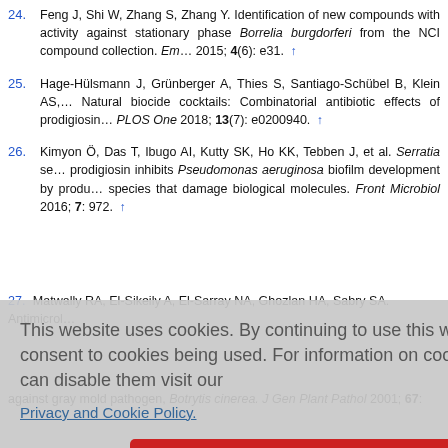24. Feng J, Shi W, Zhang S, Zhang Y. Identification of new compounds with activity against stationary phase Borrelia burgdorferi from the NCI compound collection. Emerg Microbes Infect 2015; 4(6): e31. ↑
25. Hage-Hülsmann J, Grünberger A, Thies S, Santiago-Schübel B, Klein AS, et al. Natural biocide cocktails: Combinatorial antibiotic effects of prodigiosin and biosurfactants. PLOS One 2018; 13(7): e0200940. ↑
26. Kimyon Ö, Das T, Ibugo AI, Kutty SK, Ho KK, Tebben J, et al. Serratia secondary metabolite prodigiosin inhibits Pseudomonas aeruginosa biofilm development by producing reactive oxygen species that damage biological molecules. Front Microbiol 2016; 7: 972. ↑
27. [partially visible] Matwally RA, El-Sikeily A, El-Sarray NA, Ghozlan HA, Sabry SA. Antimicrobial... Serratia... antimicrobial a... 31(5): 572... uction and... c marine St... c antifungal... Serratia ma... against gray mold pathogen, Botrytis cinerea. J Gen Plant Pathol 2001; 67:
This website uses cookies. By continuing to use this website you are giving consent to cookies being used. For information on cookies and how you can disable them visit our Privacy and Cookie Policy.